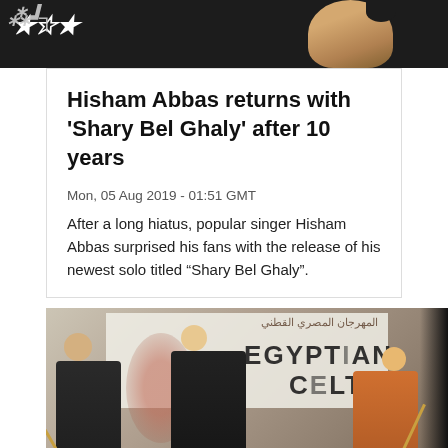[Figure (photo): Top portion of a dark background image showing a logo/text in white and a person's face on the right side]
Hisham Abbas returns with 'Shary Bel Ghaly' after 10 years
Mon, 05 Aug 2019 - 01:51 GMT
After a long hiatus, popular singer Hisham Abbas surprised his fans with the release of his newest solo titled “Shary Bel Ghaly”.
[Figure (photo): Concert photo showing performers on stage at an Egyptian Celtic music festival, with a large banner reading EGYPTIAN CELTIC in the background and Arabic text above it. Performers in traditional robes holding sticks/instruments, with a woman in orange on the right.]